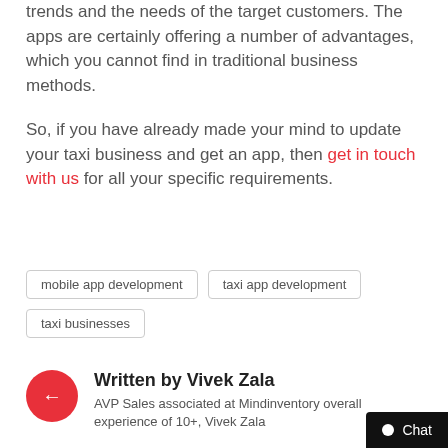trends and the needs of the target customers. The apps are certainly offering a number of advantages, which you cannot find in traditional business methods.
So, if you have already made your mind to update your taxi business and get an app, then get in touch with us for all your specific requirements.
mobile app development
taxi app development
taxi businesses
Written by Vivek Zala
AVP Sales associated at Mindinventory overall experience of 10+, Vivek Zala